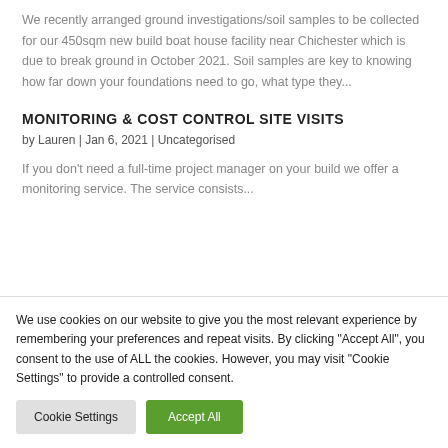We recently arranged ground investigations/soil samples to be collected for our 450sqm new build boat house facility near Chichester which is due to break ground in October 2021. Soil samples are key to knowing how far down your foundations need to go, what type they...
MONITORING & COST CONTROL SITE VISITS
by Lauren | Jan 6, 2021 | Uncategorised
If you don't need a full-time project manager on your build we offer a monitoring service. The service consists...
We use cookies on our website to give you the most relevant experience by remembering your preferences and repeat visits. By clicking "Accept All", you consent to the use of ALL the cookies. However, you may visit "Cookie Settings" to provide a controlled consent.